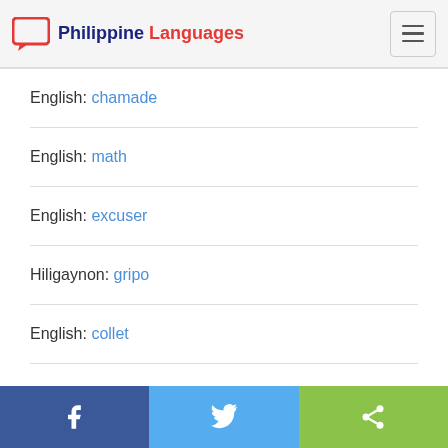Philippine Languages
English: chamade
English: math
English: excuser
Hiligaynon: gripo
English: collet
English: fix
Facebook | Twitter | Share